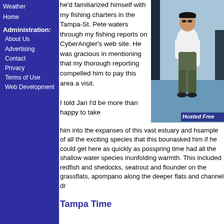Weather
Home
Administration:
About Us
Advertising
Contact
Privacy
Terms of Use
Web Development
he'd familiarized himself with my fishing charters in the Tampa-St. Pete waters through my fishing reports on CyberAngler's web site. He was gracious in mentioning that my thorough reporting compelled him to pay this area a visit.
[Figure (photo): Man in white long-sleeve shirt standing on a boat, wearing sunglasses, with water and boat hardware visible in background. Caption says 'Hosted Free']
I told Jan I'd be more than happy to take him into the expanses of this vast estuary and h... sample of all the exciting species that this boun... asked him if he could get here as quickly as pos... spring time had all the shallow water species in... unfolding warmth. This included redfish and she... docks, seatrout and flounder on the grassflats, a... pompano along the deeper flats and channel dr...
Tampa Time